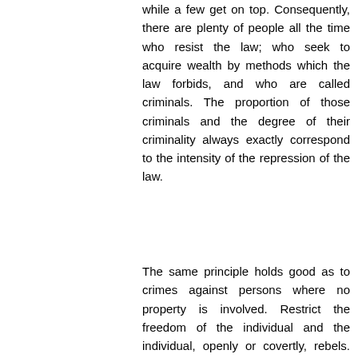while a few get on top. Consequently, there are plenty of people all the time who resist the law; who seek to acquire wealth by methods which the law forbids, and who are called criminals. The proportion of those criminals and the degree of their criminality always exactly correspond to the intensity of the repression of the law.
The same principle holds good as to crimes against persons where no property is involved. Restrict the freedom of the individual and the individual, openly or covertly, rebels. His aspiration is for freedom and he chafes and frets against the bonds which bind him down. That is why I say that the resistance will equal the force of the laws; and crime must keep pace with law. The more law